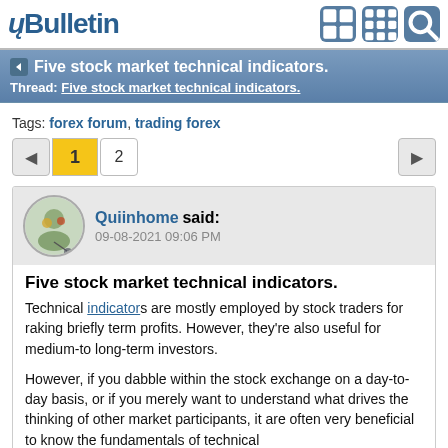vBulletin
Five stock market technical indicators.
Thread: Five stock market technical indicators.
Tags: forex forum, trading forex
Page 1 2
Quiinhome said: 09-08-2021 09:06 PM
Five stock market technical indicators.
Technical indicators are mostly employed by stock traders for raking briefly term profits. However, they're also useful for medium-to long-term investors.
However, if you dabble within the stock exchange on a day-to-day basis, or if you merely want to understand what drives the thinking of other market participants, it are often very beneficial to know the fundamentals of technical